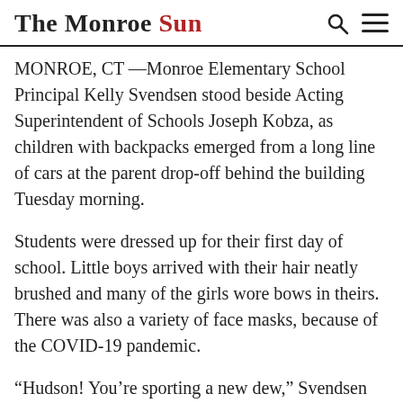The Monroe Sun
MONROE, CT —Monroe Elementary School Principal Kelly Svendsen stood beside Acting Superintendent of Schools Joseph Kobza, as children with backpacks emerged from a long line of cars at the parent drop-off behind the building Tuesday morning.
Students were dressed up for their first day of school. Little boys arrived with their hair neatly brushed and many of the girls wore bows in theirs. There was also a variety of face masks, because of the COVID-19 pandemic.
“Hudson! You’re sporting a new dew,” Svendsen said